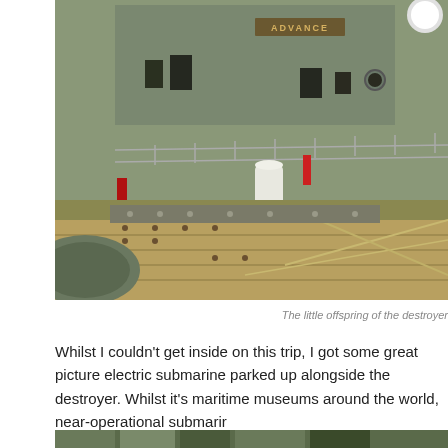[Figure (photo): Close-up photograph of the side of a naval destroyer ship docked at a pier. The word 'ADVANCE' is visible on a placard on the ship's superstructure. The ship is painted olive/grey green. Dock planking and mooring lines are visible in the foreground.]
The little offspring of the destroyer
Whilst I couldn't get inside on this trip, I got some great picture electric submarine parked up alongside the destroyer. Whilst it's maritime museums around the world, near-operational submarir
[Figure (photo): Partial view of a bottom strip image, appears to be another photograph partially visible at the bottom of the page.]